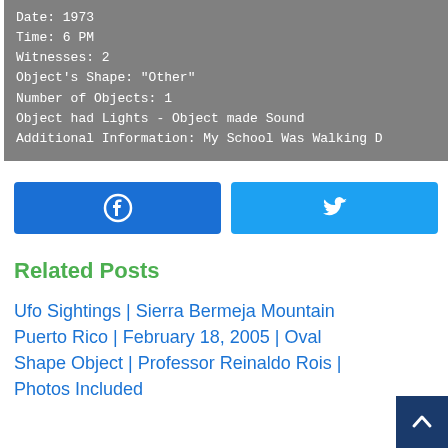Date: 1973
Time: 6 PM
Witnesses: 2
Object's Shape: "Other"
Number of Objects: 1
Object had Lights - Object made Sound
Additional Information: My School Was Walking D
[Figure (other): Social share buttons: Facebook (blue) and Twitter (light blue)]
Related Posts
Ufo Sightings | Sierra Bermeja Mountain Puerto Rico | February 18, 2005 | Oval Shape Object | Professor Reinaldo Rois | Photos Included